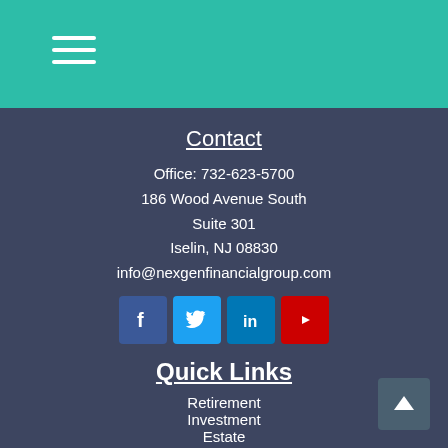Contact
Office: 732-623-5700
186 Wood Avenue South
Suite 301
Iselin, NJ 08830
info@nexgenfinancialgroup.com
[Figure (other): Social media icons: Facebook, Twitter, LinkedIn, YouTube]
Quick Links
Retirement
Investment
Estate
Insurance
Tax
Money
Lifestyle
All Articles
All Videos